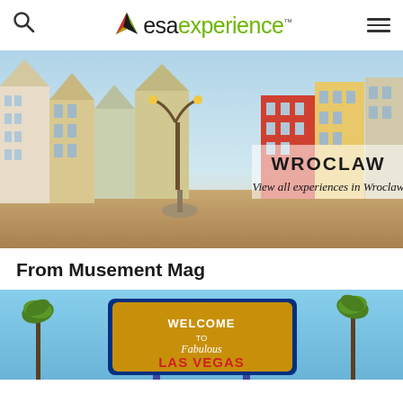esaexperience™
[Figure (photo): Wroclaw city square with colorful historic buildings, street lamps, and cobblestone plaza. Overlay text reads 'WROCLAW' and 'View all experiences in Wroclaw']
From Musement Mag
[Figure (photo): Welcome to Fabulous Las Vegas sign with palm trees against a blue sky]